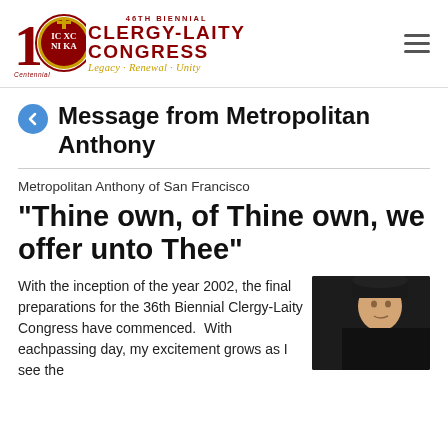46TH BIENNIAL CLERGY-LAITY CONGRESS Legacy · Renewal · Unity
Message from Metropolitan Anthony
Metropolitan Anthony of San Francisco
“Thine own, of Thine own, we offer unto Thee”
With the inception of the year 2002, the final preparations for the 36th Biennial Clergy-Laity Congress have commenced.  With eachpassing day, my excitement grows as I see the
[Figure (photo): Partial photo of Metropolitan Anthony wearing black clerical hat/vestments, cropped at bottom right of page]